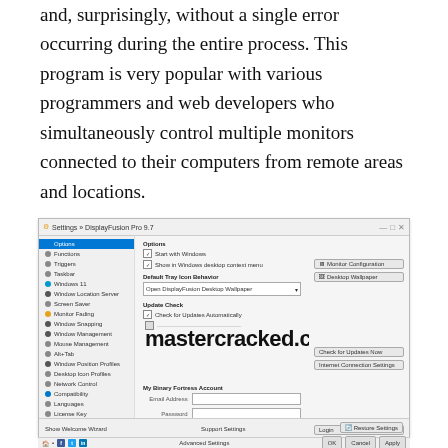and, surprisingly, without a single error occurring during the entire process. This program is very popular with various programmers and web developers who simultaneously control multiple monitors connected to their computers from remote areas and locations.
[Figure (screenshot): DisplayFusion Pro settings window showing sidebar with menu items (Options, Functions, Triggers, Taskbar, Windows 11, Window Location Server, Screen Saver, Monitor Fading, Window Snapping, Window Management, Mouse Management, Alt+Tab, Window Position Profiles, Desktop Icon Profiles, Network Control, Compatibility, Languages, License Key, Our App, Troubleshooting, About), and main content area showing Options with checkboxes for Start with Windows and Show in Windows desktop context menu, Default Tray Icon Behavior dropdown, Update Check section, and My Binary Fortress Account section with email/password fields. Watermark reads mastercracked.com]